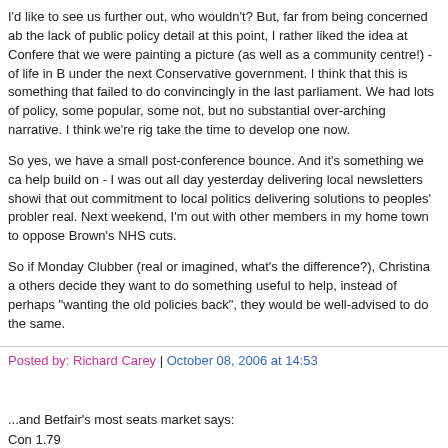I'd like to see us further out, who wouldn't? But, far from being concerned about the lack of public policy detail at this point, I rather liked the idea at Conference that we were painting a picture (as well as a community centre!) - of life in Britain under the next Conservative government. I think that this is something that we failed to do convincingly in the last parliament. We had lots of policy, some popular, some not, but no substantial over-arching narrative. I think we're right to take the time to develop one now.
So yes, we have a small post-conference bounce. And it's something we can all help build on - I was out all day yesterday delivering local newsletters showing that out commitment to local politics delivering solutions to peoples' problems is real. Next weekend, I'm out with other members in my home town to oppose Brown's NHS cuts.
So if Monday Clubber (real or imagined, what's the difference?), Christina and others decide they want to do something useful to help, instead of perhaps just "wanting the old policies back", they would be well-advised to do the same.
Posted by: Richard Carey | October 08, 2006 at 14:53
...and Betfair's most seats market says:
Con 1.79
Lab 2.32